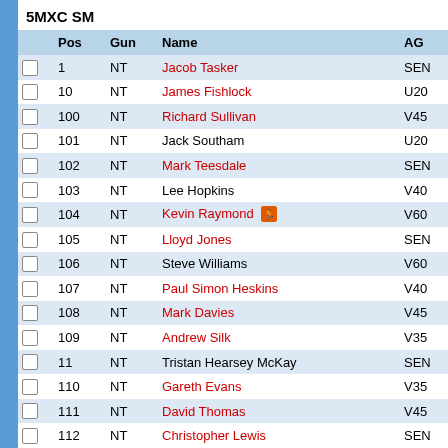5MXC SM
|  | Pos | Gun | Name | AG |
| --- | --- | --- | --- | --- |
| ☐ | 1 | NT | Jacob Tasker | SEN |
| ☐ | 10 | NT | James Fishlock | U20 |
| ☐ | 100 | NT | Richard Sullivan | V45 |
| ☐ | 101 | NT | Jack Southam | U20 |
| ☐ | 102 | NT | Mark Teesdale | SEN |
| ☐ | 103 | NT | Lee Hopkins | V40 |
| ☐ | 104 | NT | Kevin Raymond 🏃 | V60 |
| ☐ | 105 | NT | Lloyd Jones | SEN |
| ☐ | 106 | NT | Steve Williams | V60 |
| ☐ | 107 | NT | Paul Simon Heskins | V40 |
| ☐ | 108 | NT | Mark Davies | V45 |
| ☐ | 109 | NT | Andrew Silk | V35 |
| ☐ | 11 | NT | Tristan Hearsey McKay | SEN |
| ☐ | 110 | NT | Gareth Evans | V35 |
| ☐ | 111 | NT | David Thomas | V45 |
| ☐ | 112 | NT | Christopher Lewis | SEN |
| ☐ | 113 | NT | Mathew Jones | V45 |